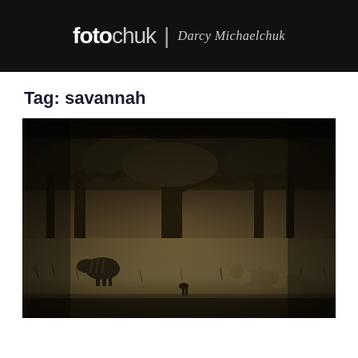fotochuk | Photography by Darcy Michaelchuk
Tag: savannah
[Figure (photo): Sepia-toned wildlife photograph of an African savannah scene with large acacia trees in the background, dry grassland, and what appears to be lions resting on the right side and a zebra or other animal on the left side of the frame.]